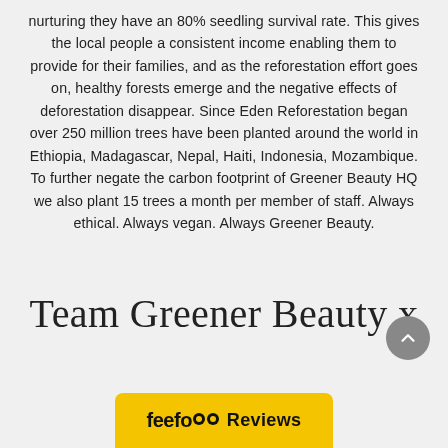nurturing they have an 80% seedling survival rate. This gives the local people a consistent income enabling them to provide for their families, and as the reforestation effort goes on, healthy forests emerge and the negative effects of deforestation disappear. Since Eden Reforestation began over 250 million trees have been planted around the world in Ethiopia, Madagascar, Nepal, Haiti, Indonesia, Mozambique. To further negate the carbon footprint of Greener Beauty HQ we also plant 15 trees a month per member of staff. Always ethical. Always vegan. Always Greener Beauty.
Team Greener Beauty x
[Figure (logo): Feefo Reviews yellow banner with feefo logo and two circular emoji-style icons]